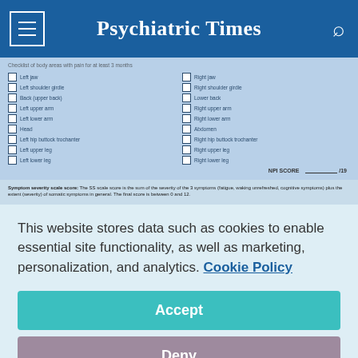Psychiatric Times
Checklist of body areas with pain for at least 3 months
Left jaw | Right jaw | Left shoulder girdle | Right shoulder girdle | Back (upper back) | Lower back | Left upper arm | Right upper arm | Left lower arm | Right lower arm | Head | Abdomen | Left hip buttock trochanter | Right hip buttock trochanter | Left upper leg | Right upper leg | Left lower leg | Right lower leg
NPI SCORE ___ /19
Symptom severity scale score: The SS scale score is the sum of the severity of the 3 symptoms (fatigue, waking unrefreshed, cognitive symptoms) plus the extent (severity) of somatic symptoms in general. The final score is between 0 and 12.
This website stores data such as cookies to enable essential site functionality, as well as marketing, personalization, and analytics. Cookie Policy
Accept
Deny